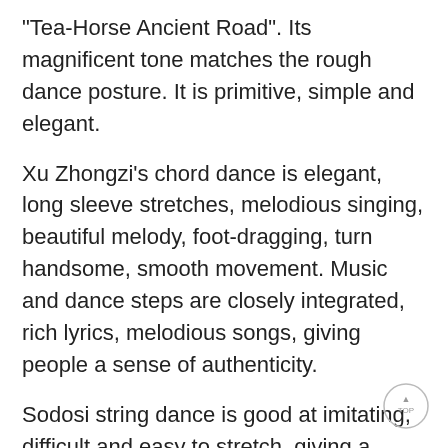"Tea-Horse Ancient Road". Its magnificent tone matches the rough dance posture. It is primitive, simple and elegant.
Xu Zhongzi's chord dance is elegant, long sleeve stretches, melodious singing, beautiful melody, foot-dragging, turn handsome, smooth movement. Music and dance steps are closely integrated, rich lyrics, melodious songs, giving people a sense of authenticity.
Sodosi string dance is good at imitating, difficult and easy to stretch, giving a sense of unrestrained and lively. The long sleeve flutters, the movement range is large, the music is comfortable and happy, the footsteps are relaxed, the body stretches, highlighting the characteristics of long sleeve dance. Rabbit Running is the representative work of Sodoxi String Dance, which expresses the people's desire for freedom, love, love for life and praise of their hometown.